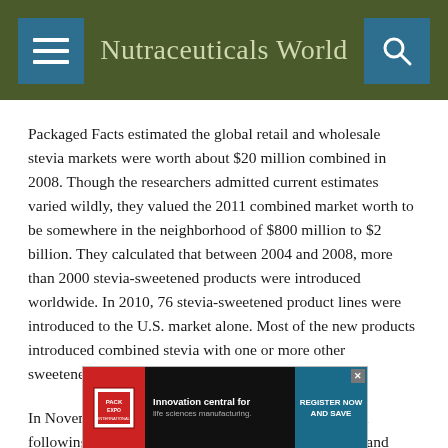Nutraceuticals World
Packaged Facts estimated the global retail and wholesale stevia markets were worth about $20 million combined in 2008. Though the researchers admitted current estimates varied wildly, they valued the 2011 combined market worth to be somewhere in the neighborhood of $800 million to $2 billion. They calculated that between 2004 and 2008, more than 2000 stevia-sweetened products were introduced worldwide. In 2010, 76 stevia-sweetened product lines were introduced to the U.S. market alone. Most of the new products introduced combined stevia with one or more other sweeteners.
In November 2011, stevia's global reach was expanded following a long-anticipated approval for use in foods and
[Figure (infographic): Advertisement banner for Pack Expo International: 'Innovation central for life sciences manufacturing. REGISTER NOW AND SAVE']